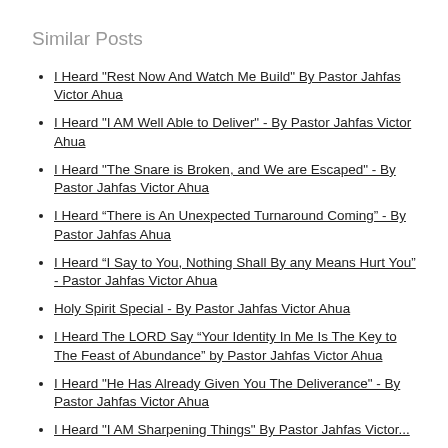Similar Posts
I Heard "Rest Now And Watch Me Build" By Pastor Jahfas Victor Ahua
I Heard "I AM Well Able to Deliver" - By Pastor Jahfas Victor Ahua
I Heard "The Snare is Broken, and We are Escaped" - By Pastor Jahfas Victor Ahua
I Heard “There is An Unexpected Turnaround Coming” - By Pastor Jahfas Ahua
I Heard “I Say to You, Nothing Shall By any Means Hurt You” - Pastor Jahfas Victor Ahua
Holy Spirit Special - By Pastor Jahfas Victor Ahua
I Heard The LORD Say “Your Identity In Me Is The Key to The Feast of Abundance” by Pastor Jahfas Victor Ahua
I Heard "He Has Already Given You The Deliverance" - By Pastor Jahfas Victor Ahua
I Heard "I AM Sharpening Things" By Pastor Jahfas Victor...